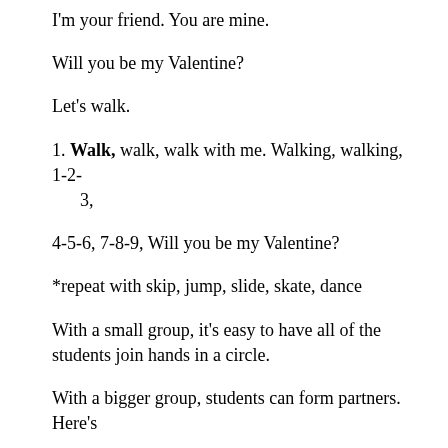I'm your friend. You are mine.
Will you be my Valentine?
Let's walk.
Walk, walk, walk with me. Walking, walking, 1-2-3,
4-5-6, 7-8-9,  Will you be my Valentine?
*repeat with skip, jump, slide, skate, dance
With a small group, it's easy to have all of the students join hands in a circle.
With a bigger group, students can form partners.  Here's